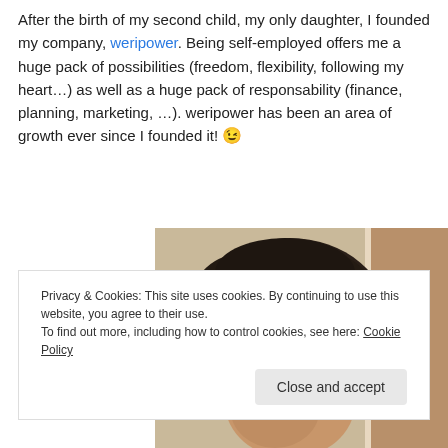After the birth of my second child, my only daughter, I founded my company, weripower. Being self-employed offers me a huge pack of possibilities (freedom, flexibility, following my heart…) as well as a huge pack of responsability (finance, planning, marketing, …). weripower has been an area of growth ever since I founded it! 😉
[Figure (photo): Partial photo of a person's head with dark curly hair, partially cropped, with a light background and what appears to be a wooden frame]
Privacy & Cookies: This site uses cookies. By continuing to use this website, you agree to their use.
To find out more, including how to control cookies, see here: Cookie Policy